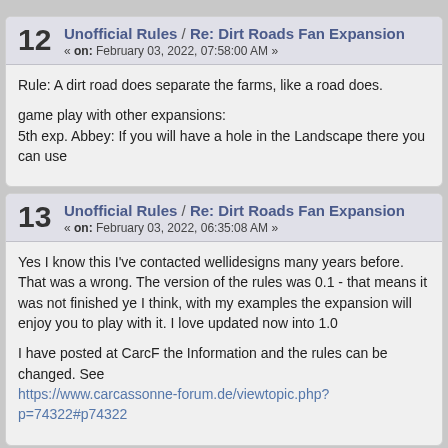12 Unofficial Rules / Re: Dirt Roads Fan Expansion « on: February 03, 2022, 07:58:00 AM »
Rule: A dirt road does separate the farms, like a road does.
game play with other expansions:
5th exp. Abbey: If you will have a hole in the Landscape there you can use
13 Unofficial Rules / Re: Dirt Roads Fan Expansion « on: February 03, 2022, 06:35:08 AM »
Yes I know this I've contacted wellidesigns many years before. That was a wrong. The version of the rules was 0.1 - that means it was not finished ye I think, with my examples the expansion will enjoy you to play with it. I love updated now into 1.0
I have posted at CarcF the Information and the rules can be changed. See https://www.carcassonne-forum.de/viewtopic.php?p=74322#p74322
14 Unofficial Rules / Re: Dirt Roads Fan Expansion